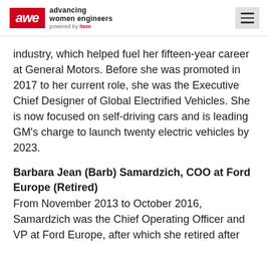awe advancing women engineers powered by item
industry, which helped fuel her fifteen-year career at General Motors. Before she was promoted in 2017 to her current role, she was the Executive Chief Designer of Global Electrified Vehicles. She is now focused on self-driving cars and is leading GM’s charge to launch twenty electric vehicles by 2023.
Barbara Jean (Barb) Samardzich, COO at Ford Europe (Retired)
From November 2013 to October 2016, Samardzich was the Chief Operating Officer and VP at Ford Europe, after which she retired after